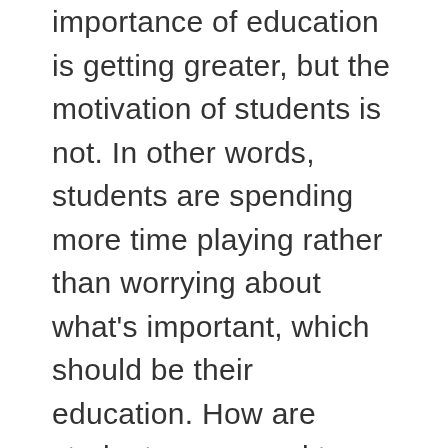importance of education is getting greater, but the motivation of students is not. In other words, students are spending more time playing rather than worrying about what's important, which should be their education. How are students supposed to make any kind of real money if they get bad test scores? That kind of influence has forced students to turn to cheating. These students will assume that cheating is the best option; but is it really? Students think that the benefit